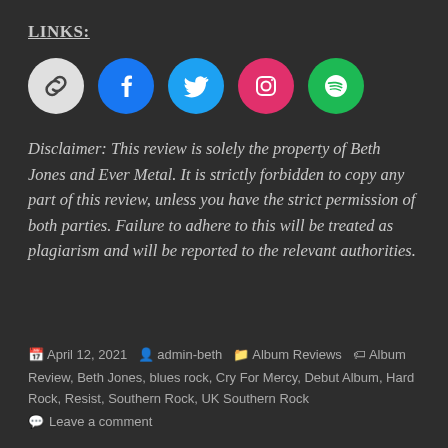LINKS:
[Figure (illustration): Row of 5 social media icon circles: link/chain icon (grey), Facebook (blue), Twitter (light blue), Instagram (pink/magenta), Spotify (green)]
Disclaimer: This review is solely the property of Beth Jones and Ever Metal. It is strictly forbidden to copy any part of this review, unless you have the strict permission of both parties. Failure to adhere to this will be treated as plagiarism and will be reported to the relevant authorities.
April 12, 2021  admin-beth  Album Reviews  Album Review, Beth Jones, blues rock, Cry For Mercy, Debut Album, Hard Rock, Resist, Southern Rock, UK Southern Rock  Leave a comment